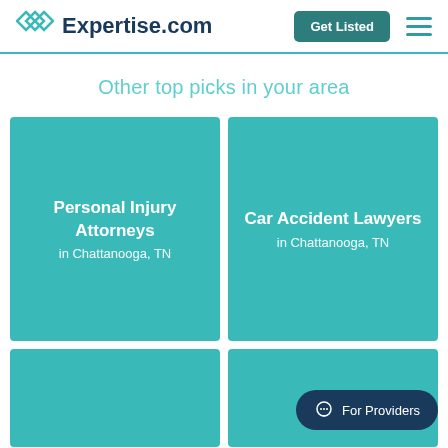Expertise.com
Other top picks in your area
[Figure (other): Teal card: Personal Injury Attorneys in Chattanooga, TN]
[Figure (other): Teal card: Car Accident Lawyers in Chattanooga, TN]
[Figure (other): Teal card (partial, bottom left)]
[Figure (other): Teal card (partial, bottom right) with For Providers button overlay]